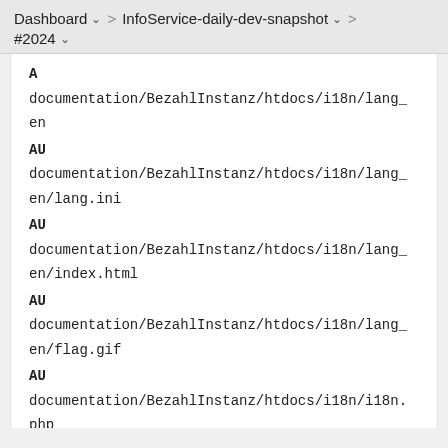Dashboard > InfoService-daily-dev-snapshot > #2024
A
documentation/BezahlInstanz/htdocs/i18n/lang_en
AU
documentation/BezahlInstanz/htdocs/i18n/lang_en/lang.ini
AU
documentation/BezahlInstanz/htdocs/i18n/lang_en/index.html
AU
documentation/BezahlInstanz/htdocs/i18n/lang_en/flag.gif
AU
documentation/BezahlInstanz/htdocs/i18n/i18n.php
A
documentation/BezahlInstanz/htdocs/i18n/lang_